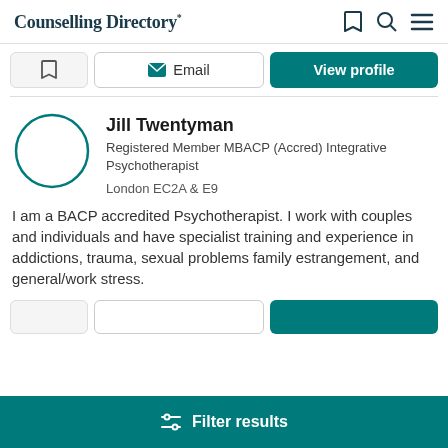Counselling Directory*
Email  |  View profile
Jill Twentyman
Registered Member MBACP (Accred) Integrative Psychotherapist
London EC2A & E9
I am a BACP accredited Psychotherapist. I work with couples and individuals and have specialist training and experience in addictions, trauma, sexual problems family estrangement, and general/work stress.
Filter results